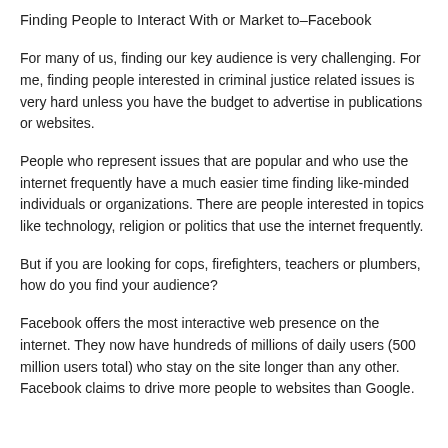Finding People to Interact With or Market to–Facebook
For many of us, finding our key audience is very challenging. For me, finding people interested in criminal justice related issues is very hard unless you have the budget to advertise in publications or websites.
People who represent issues that are popular and who use the internet frequently have a much easier time finding like-minded individuals or organizations. There are people interested in topics like technology, religion or politics that use the internet frequently.
But if you are looking for cops, firefighters, teachers or plumbers, how do you find your audience?
Facebook offers the most interactive web presence on the internet. They now have hundreds of millions of daily users (500 million users total) who stay on the site longer than any other. Facebook claims to drive more people to websites than Google.